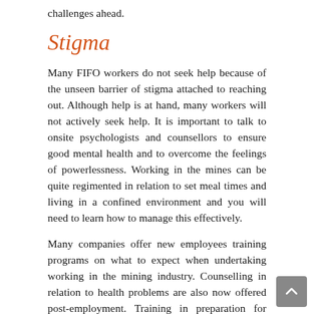challenges ahead.
Stigma
Many FIFO workers do not seek help because of the unseen barrier of stigma attached to reaching out. Although help is at hand, many workers will not actively seek help. It is important to talk to onsite psychologists and counsellors to ensure good mental health and to overcome the feelings of powerlessness. Working in the mines can be quite regimented in relation to set meal times and living in a confined environment and you will need to learn how to manage this effectively.
Many companies offer new employees training programs on what to expect when undertaking working in the mining industry. Counselling in relation to health problems are also now offered post-employment. Training in preparation for working in the mining industry is also offered by One Key Resources where specific training is conducted for FIFO work in the fields of mining, civil industries, and gas. There are many